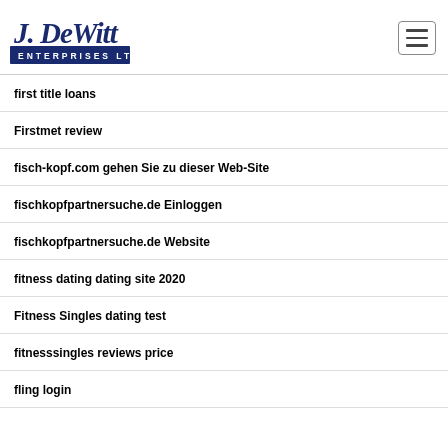[Figure (logo): J. DeWitt Enterprises Ltd logo in dark blue cursive and block lettering]
first title loans
Firstmet review
fisch-kopf.com gehen Sie zu dieser Web-Site
fischkopfpartnersuche.de Einloggen
fischkopfpartnersuche.de Website
fitness dating dating site 2020
Fitness Singles dating test
fitnesssingles reviews price
fling login